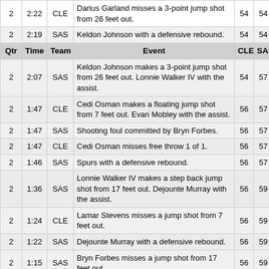| Qtr | Time | Team | Event | CLE | SAS |
| --- | --- | --- | --- | --- | --- |
| 2 | 2:22 | CLE | Darius Garland misses a 3-point jump shot from 26 feet out. | 54 | 54 |
| 2 | 2:19 | SAS | Keldon Johnson with a defensive rebound. | 54 | 54 |
| Qtr | Time | Team | Event | CLE | SAS |
| 2 | 2:07 | SAS | Keldon Johnson makes a 3-point jump shot from 26 feet out. Lonnie Walker IV with the assist. | 54 | 57 |
| 2 | 1:47 | CLE | Cedi Osman makes a floating jump shot from 7 feet out. Evan Mobley with the assist. | 56 | 57 |
| 2 | 1:47 | SAS | Shooting foul committed by Bryn Forbes. | 56 | 57 |
| 2 | 1:47 | CLE | Cedi Osman misses free throw 1 of 1. | 56 | 57 |
| 2 | 1:46 | SAS | Spurs with a defensive rebound. | 56 | 57 |
| 2 | 1:36 | SAS | Lonnie Walker IV makes a step back jump shot from 17 feet out. Dejounte Murray with the assist. | 56 | 59 |
| 2 | 1:24 | CLE | Lamar Stevens misses a jump shot from 7 feet out. | 56 | 59 |
| 2 | 1:22 | SAS | Dejounte Murray with a defensive rebound. | 56 | 59 |
| 2 | 1:15 | SAS | Bryn Forbes misses a jump shot from 17 feet out. | 56 | 59 |
| 2 | 1:15 | CLE | Lamar Stevens with a defensive rebound. | 56 | 59 |
| 2 | 1:09 | CLE | Lamar Stevens makes a floating jump shot from 1 foot out. | 58 | 59 |